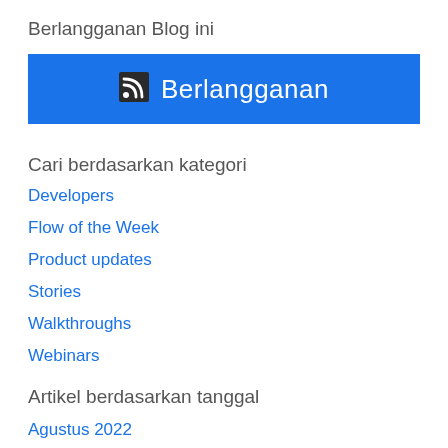Berlangganan Blog ini
[Figure (other): Blue subscribe button with RSS icon and text 'Berlangganan']
Cari berdasarkan kategori
Developers
Flow of the Week
Product updates
Stories
Walkthroughs
Webinars
Artikel berdasarkan tanggal
Agustus 2022